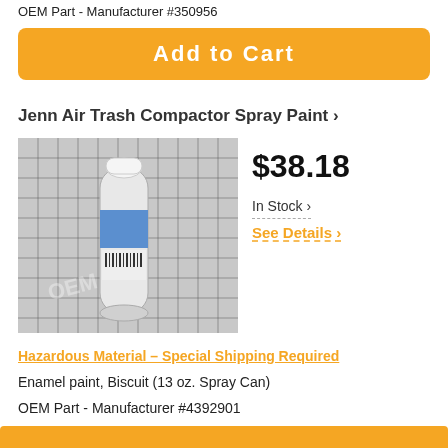OEM Part - Manufacturer #350956
[Figure (other): Orange 'Add to Cart' button]
Jenn Air Trash Compactor Spray Paint ›
[Figure (photo): Photo of a spray paint can (white cap, blue label) on a grid background]
$38.18
In Stock ›
See Details ›
Hazardous Material – Special Shipping Required
Enamel paint, Biscuit (13 oz. Spray Can)
OEM Part - Manufacturer #4392901